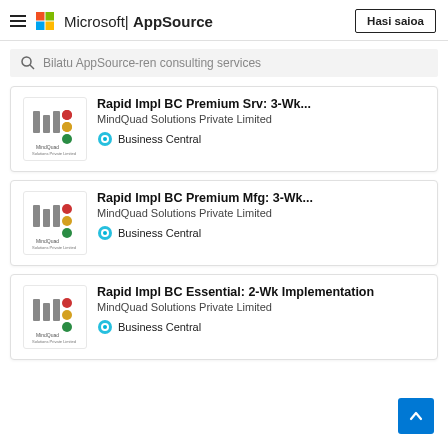Microsoft | AppSource — Hasi saioa
Bilatu AppSource-ren consulting services
Rapid Impl BC Premium Srv: 3-Wk...
MindQuad Solutions Private Limited
Business Central
Rapid Impl BC Premium Mfg: 3-Wk...
MindQuad Solutions Private Limited
Business Central
Rapid Impl BC Essential: 2-Wk Implementation
MindQuad Solutions Private Limited
Business Central